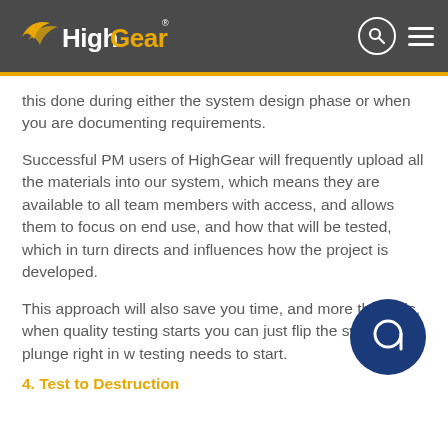HighGear
this done during either the system design phase or when you are documenting requirements.
Successful PM users of HighGear will frequently upload all the materials into our system, which means they are available to all team members with access, and allows them to focus on end use, and how that will be tested, which in turn directs and influences how the project is developed.
This approach will also save you time, and more than this, when quality testing starts you can just flip the switch and plunge right in where testing needs to start.
4. Test to Destruction